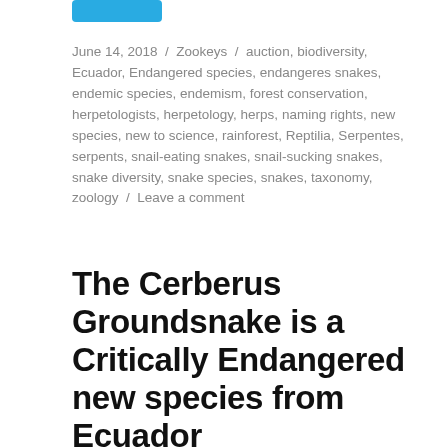[Figure (other): Blue rounded rectangle button/tag at top left]
June 14, 2018 / Zookeys / auction, biodiversity, Ecuador, Endangered species, endangeres snakes, endemic species, endemism, forest conservation, herpetologists, herpetology, herps, naming rights, new species, new to science, rainforest, Reptilia, Serpentes, serpents, snail-eating snakes, snail-sucking snakes, snake diversity, snake species, snakes, taxonomy, zoology / Leave a comment
The Cerberus Groundsnake is a Critically Endangered new species from Ecuador